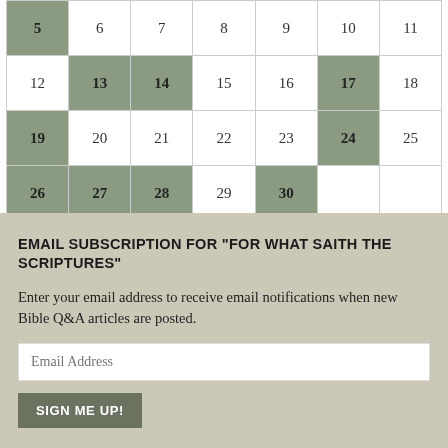| 5 | 6 | 7 | 8 | 9 | 10 | 11 |
| 12 | 13 | 14 | 15 | 16 | 17 | 18 |
| 19 | 20 | 21 | 22 | 23 | 24 | 25 |
| 26 | 27 | 28 | 29 | 30 |  |  |
« Mar    May »
EMAIL SUBSCRIPTION FOR "FOR WHAT SAITH THE SCRIPTURES"
Enter your email address to receive email notifications when new Bible Q&A articles are posted.
Email Address
SIGN ME UP!